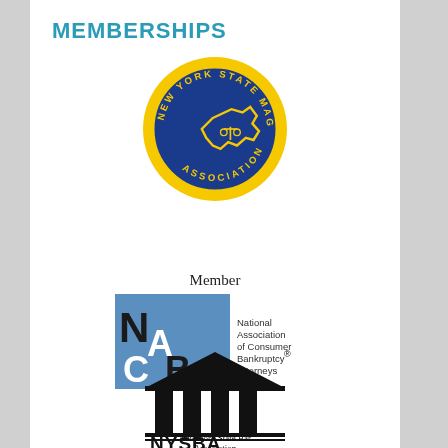MEMBERSHIPS
[Figure (logo): New York State Magistrates Association circular seal: blue circle with yellow border text 'NEW YORK STATE MAGISTRATES ASSOCIATION', yellow outline of New York State with scales of justice in center]
Member
[Figure (logo): NACBA logo: blue rectangle with large letters N, A, C, B, A and text 'National Association of Consumer Bankruptcy Attorneys']
[Figure (logo): NYSBA logo: black temple/courthouse building icon above text 'NYSBA' and 'New York State Bar Association']